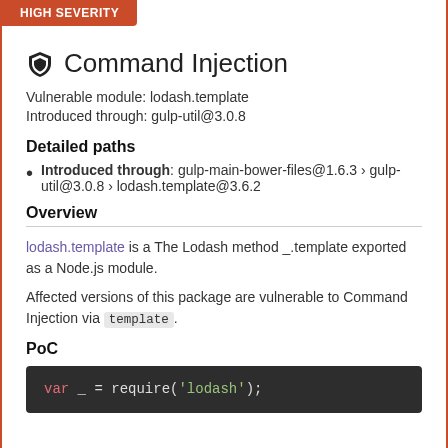HIGH SEVERITY
Command Injection
Vulnerable module: lodash.template
Introduced through: gulp-util@3.0.8
Detailed paths
Introduced through: gulp-main-bower-files@1.6.3 › gulp-util@3.0.8 › lodash.template@3.6.2
Overview
lodash.template is a The Lodash method _.template exported as a Node.js module.
Affected versions of this package are vulnerable to Command Injection via template.
PoC
var _ = require('lodash');